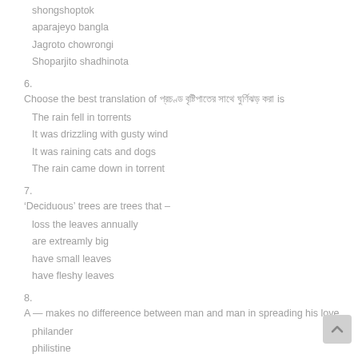shongshoptok
aparajeyo bangla
Jagroto chowrongi
Shoparjito shadhinota
6.
Choose the best translation of [Bengali text] is
The rain fell in torrents
It was drizzling with gusty wind
It was raining cats and dogs
The rain came down in torrent
7.
‘Deciduous’ trees are trees that –
loss the leaves annually
are extreamly big
have small leaves
have fleshy leaves
8.
A — makes no differeence between man and man in spreading his love
philander
philistine
philosopher
philanthropist
9.
His friend ___ his word much to his despair